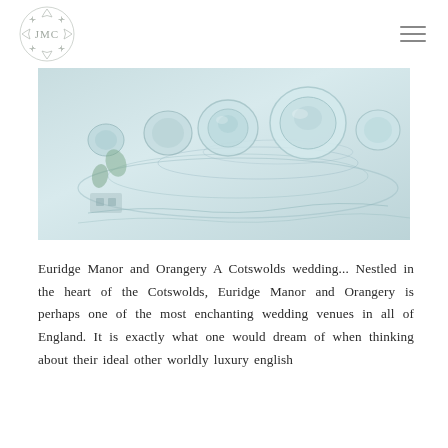[Figure (logo): Ornate circular monogram logo with floral/botanical wreath border in light grey]
[Figure (photo): Top-down view of elegant glass jars/vessels with water reflections in soft blue-teal tones, wedding table setting]
Euridge Manor and Orangery A Cotswolds wedding... Nestled in the heart of the Cotswolds, Euridge Manor and Orangery is perhaps one of the most enchanting wedding venues in all of England. It is exactly what one would dream of when thinking about their ideal other worldly luxury english